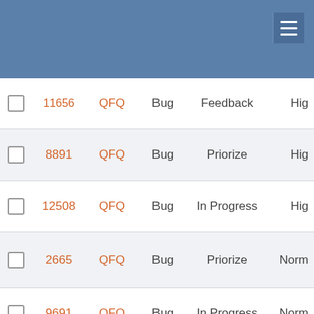|  | ID | Project | Type | Status | Priority |
| --- | --- | --- | --- | --- | --- |
|  | 11656 | QFQ | Bug | Feedback | Hig |
|  | 8891 | QFQ | Bug | Priorize | Hig |
|  | 12508 | QFQ | Bug | In Progress | Hig |
|  | 2665 | QFQ | Bug | Priorize | Norm |
|  | 9691 | QFQ | Bug | In Progress | Norm |
|  | 9789 | QFQ | Bug | In Progress | Hig |
|  | 9275 | QFQ | Bug | New | Norm |